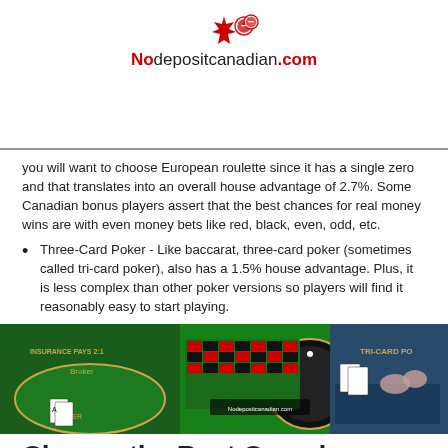[Figure (logo): Nodepositcanadian.com logo with red maple leaf and casino chips]
you will want to choose European roulette since it has a single zero and that translates into an overall house advantage of 2.7%. Some Canadian bonus players assert that the best chances for real money wins are with even money bets like red, black, even, odd, etc.
Three-Card Poker - Like baccarat, three-card poker (sometimes called tri-card poker), also has a 1.5% house advantage. Plus, it is less complex than other poker versions so players will find it reasonably easy to start playing.
[Figure (photo): Casino table games collage showing blackjack, roulette, and card poker tables with green felt]
Choose the Best Canada Online...